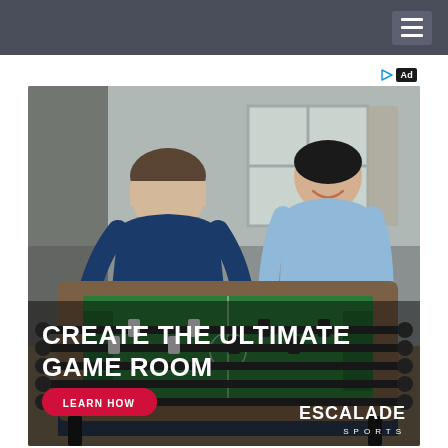Navigation bar with hamburger menu
[Figure (photo): Advertisement for Escalade Sports showing two men playing foosball in a game room. Text overlay reads: CREATE THE ULTIMATE GAME ROOM. Red button: LEARN HOW. Escalade Sports logo in bottom right. Ad indicator in top right corner.]